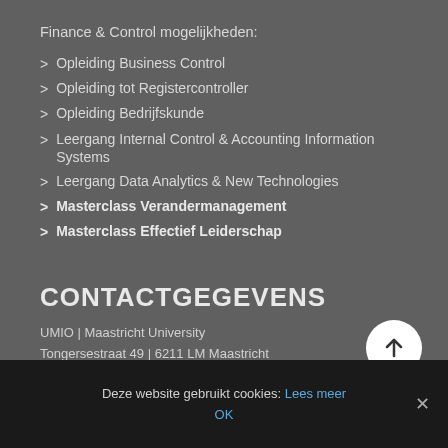Finance & Control mogelijkheden:
> Opleiding Business Control
> Opleiding tot Registercontroller
> Opleiding Bedrijfskunde
> Leergang Internal Control & Accounting Information Systems
> Leergang Data Analytics & New Technologies
> Masterclass Verandermanagement
> Masterclass Effectief Leiderschap
CONTACTGEGEVENS
UMIO | Maastricht University
Tongersestraat 49 | 6211 LM Maastricht
lda-sbe@maastrichtuniversity.nl
+31 43 388 36 08
Deze website gebruikt cookies: Lees meer
OK